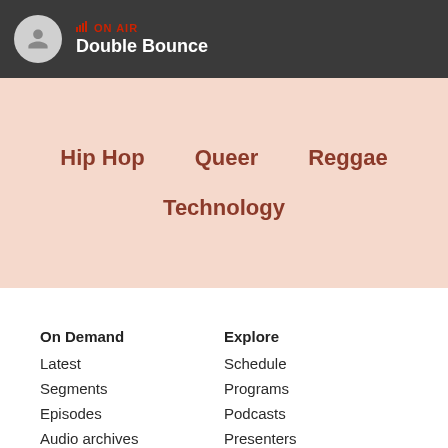ON AIR — Double Bounce
Hip Hop
Queer
Reggae
Technology
On Demand
Latest
Segments
Episodes
Audio archives
Explore
Schedule
Programs
Podcasts
Presenters
Album of the week
Soundscape